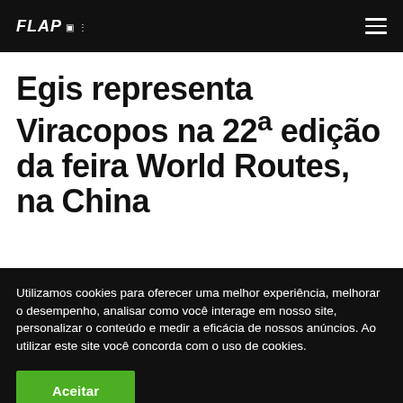FLAP ≡
Egis representa Viracopos na 22ª edição da feira World Routes, na China
Utilizamos cookies para oferecer uma melhor experiência, melhorar o desempenho, analisar como você interage em nosso site, personalizar o conteúdo e medir a eficácia de nossos anúncios. Ao utilizar este site você concorda com o uso de cookies.
Aceitar